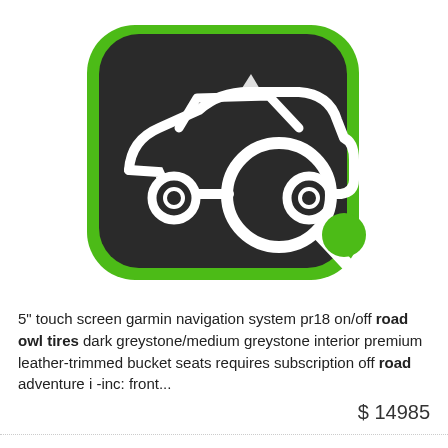[Figure (logo): Green and dark rounded square app icon with a white car and magnifying glass illustration — Road Owl car search logo]
5" touch screen garmin navigation system pr18 on/off road owl tires dark greystone/medium greystone interior premium leather-trimmed bucket seats requires subscription off road adventure i -inc: front...
$ 14985